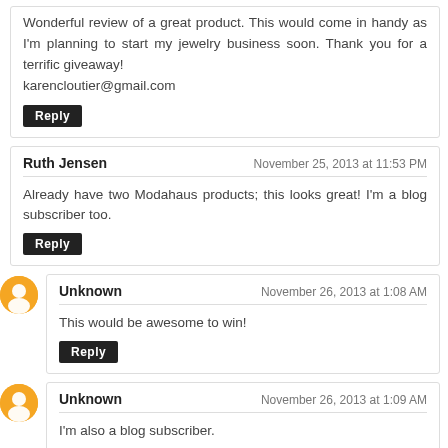Wonderful review of a great product. This would come in handy as I'm planning to start my jewelry business soon. Thank you for a terrific giveaway! karencloutier@gmail.com
Reply
Ruth Jensen
November 25, 2013 at 11:53 PM
Already have two Modahaus products; this looks great! I'm a blog subscriber too.
Reply
Unknown
November 26, 2013 at 1:08 AM
This would be awesome to win!
Reply
Unknown
November 26, 2013 at 1:09 AM
I'm also a blog subscriber.